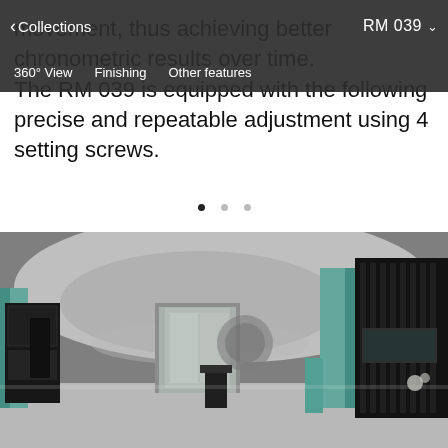< Collections   RM 039 ▾
360° View   Finishing   Other features
movement, thus achieving better chronometric results over time. The RM 039 is equipped with the following precise and repeatable adjustment using 4 setting screws.
[Figure (photo): Interior of a luxury watch boutique with curved white ceiling, teal accent walls, and black display cases]